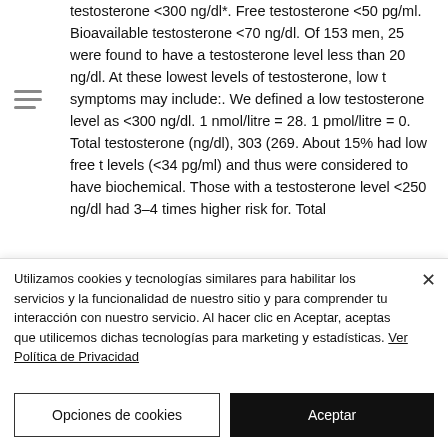testosterone <300 ng/dl*. Free testosterone <50 pg/ml. Bioavailable testosterone <70 ng/dl. Of 153 men, 25 were found to have a testosterone level less than 20 ng/dl. At these lowest levels of testosterone, low t symptoms may include:. We defined a low testosterone level as <300 ng/dl. 1 nmol/litre = 28. 1 pmol/litre = 0. Total testosterone (ng/dl), 303 (269. About 15% had low free t levels (<34 pg/ml) and thus were considered to have biochemical. Those with a testosterone level <250 ng/dl had 3–4 times higher risk for. Total...
Utilizamos cookies y tecnologías similares para habilitar los servicios y la funcionalidad de nuestro sitio y para comprender tu interacción con nuestro servicio. Al hacer clic en Aceptar, aceptas que utilicemos dichas tecnologías para marketing y estadísticas. Ver Política de Privacidad